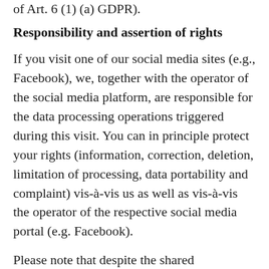of Art. 6 (1) (a) GDPR).
Responsibility and assertion of rights
If you visit one of our social media sites (e.g., Facebook), we, together with the operator of the social media platform, are responsible for the data processing operations triggered during this visit. You can in principle protect your rights (information, correction, deletion, limitation of processing, data portability and complaint) vis-à-vis us as well as vis-à-vis the operator of the respective social media portal (e.g. Facebook).
Please note that despite the shared responsibility with the social media portal operators, we do not have full influence on the data processing